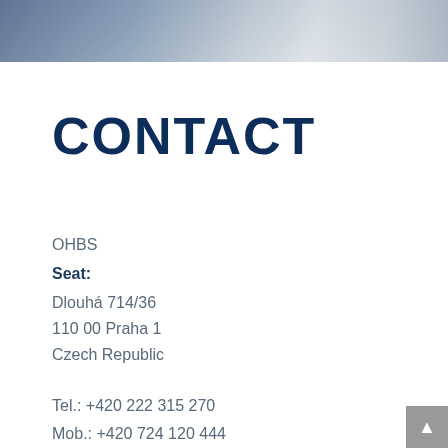[Figure (photo): Blurred banner photo with blue-grey tones at top of page]
CONTACT
OHBS
Seat:
Dlouhá 714/36
110 00 Praha 1
Czech Republic
Tel.: +420 222 315 270
Mob.: +420 724 120 444
E-mail: office@ohbs.cz